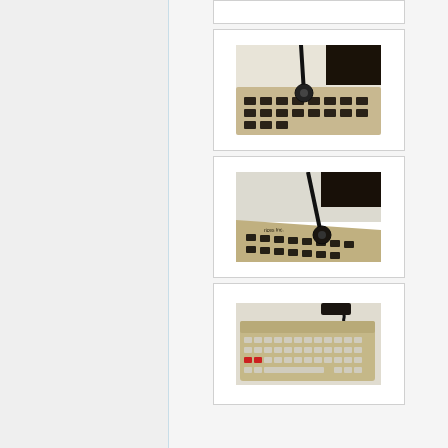[Figure (photo): Partial white card/panel at top, cropped]
[Figure (photo): Close-up photo of a vintage keyboard with a cable connector attached at the top, beige/tan colored keyboard with dark keys, overhead angled view]
[Figure (photo): Close-up photo of a vintage keyboard showing a cable connector, with text 'rices Inc.' visible on the keyboard body, angled view]
[Figure (photo): Photo of a full vintage keyboard with beige/tan body, dark keys including red accent keys, with a coiled cable, top-down view]